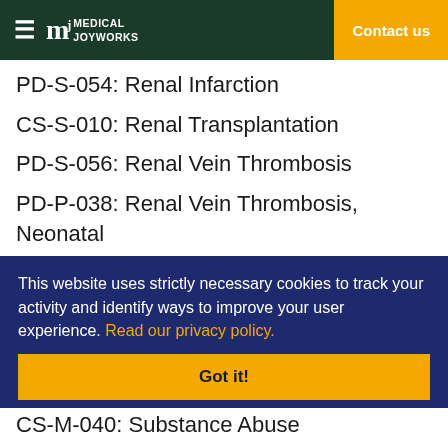Medical Joyworks — Contact us
PD-S-054: Renal Infarction
CS-S-010: Renal Transplantation
PD-S-056: Renal Vein Thrombosis
PD-P-038: Renal Vein Thrombosis, Neonatal
MCQ-M-014: Restrictive cardiomyopathy
This website uses strictly necessary cookies to track your activity and identify ways to improve your user experience. Read our privacy policy.
Got it!
CS-M-040: Substance Abuse